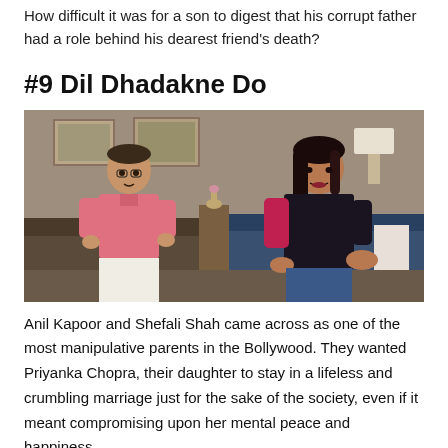How difficult it was for a son to digest that his corrupt father had a role behind his dearest friend's death?
#9 Dil Dhadakne Do
[Figure (photo): A man in a pink shirt sitting cross-legged and a woman in dark clothing gesturing with her hand, both seated on chairs/sofas in a room setting — a still from the Bollywood film Dil Dhadakne Do.]
Anil Kapoor and Shefali Shah came across as one of the most manipulative parents in the Bollywood. They wanted Priyanka Chopra, their daughter to stay in a lifeless and crumbling marriage just for the sake of the society, even if it meant compromising upon her mental peace and happiness.